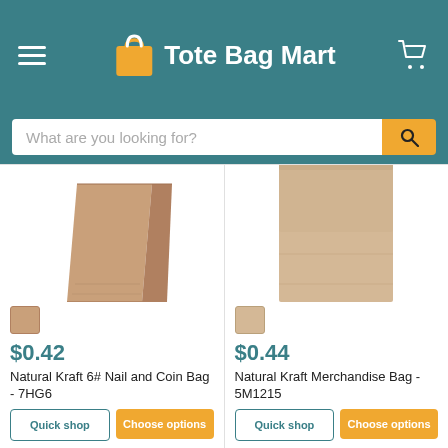Tote Bag Mart
What are you looking for?
[Figure (photo): Natural kraft paper bag standing upright, 3/4 view]
$0.42
Natural Kraft 6# Nail and Coin Bag - 7HG6
[Figure (photo): Natural kraft paper merchandise bag, flat front view]
$0.44
Natural Kraft Merchandise Bag - 5M1215